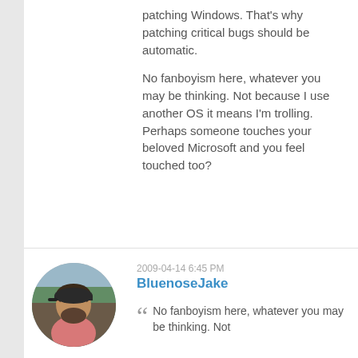patching Windows. That's why patching critical bugs should be automatic.
No fanboyism here, whatever you may be thinking. Not because I use another OS it means I'm trolling. Perhaps someone touches your beloved Microsoft and you feel touched too?
2009-04-14 6:45 PM
BluenoseJake
[Figure (photo): Circular avatar photo of a man wearing a pink shirt, outdoors with trees in background]
No fanboyism here, whatever you may be thinking. Not